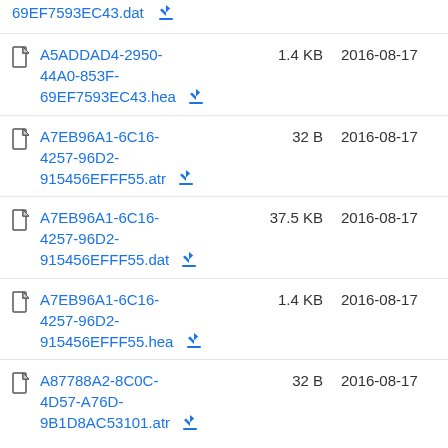69EF7593EC43.dat [download]
A5ADDAD4-2950-44A0-853F-69EF7593EC43.hea [download] 1.4 KB 2016-08-17
A7EB96A1-6C16-4257-96D2-915456EFFF55.atr [download] 32 B 2016-08-17
A7EB96A1-6C16-4257-96D2-915456EFFF55.dat [download] 37.5 KB 2016-08-17
A7EB96A1-6C16-4257-96D2-915456EFFF55.hea [download] 1.4 KB 2016-08-17
A87788A2-8C0C-4D57-A76D-9B1D8AC53101.atr [download] 32 B 2016-08-17